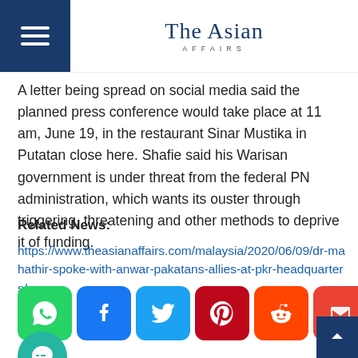The Asian Affairs
A letter being spread on social media said the planned press conference would take place at 11 am, June 19, in the restaurant Sinar Mustika in Putatan close here. Shafie said his Warisan government is under threat from the federal PN administration, which wants its ouster through triggering, threatening and other methods to deprive it of funding.
Related News:
https://www.theasianaffairs.com/malaysia/2020/06/09/dr-mahathir-spoke-with-anwar-pakatans-allies-at-pkr-headquarters/
[Figure (infographic): Social media share buttons: WhatsApp (green), Facebook (blue), Twitter (light blue), Pinterest (dark red), Reddit (orange-red), Gmail (red), More (blue)]